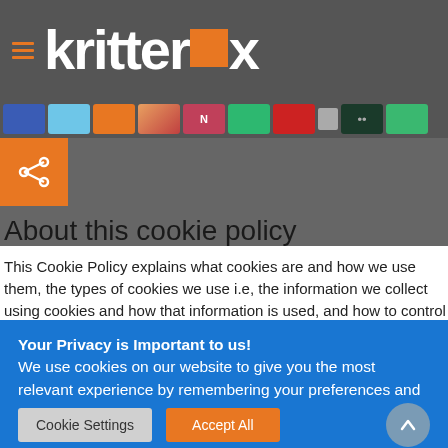[Figure (logo): Kritterbox logo with hamburger menu icon on dark grey background. Orange square replaces the letter 'o' in 'kritterbox'.]
[Figure (screenshot): Navigation strip with colorful category icons/thumbnails on dark grey background.]
[Figure (infographic): Orange share button with share icon.]
About this cookie policy
This Cookie Policy explains what cookies are and how we use them, the types of cookies we use i.e, the information we collect using cookies and how that information is used, and how to control the cookie preferences. For further information on how
Your Privacy is Important to us!
We use cookies on our website to give you the most relevant experience by remembering your preferences and repeat visits. By clicking "Accept All", you consent to the use of ALL the cookies. However, you may visit "Cookie Settings" to provide a controlled consent.